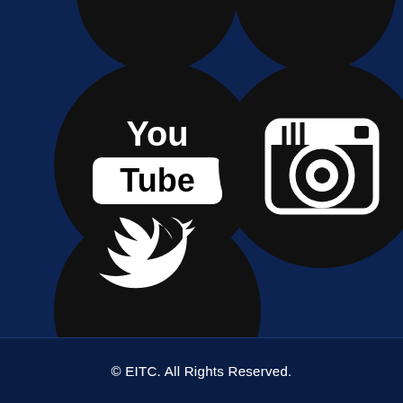[Figure (illustration): Social media icons: YouTube logo circle (black circle with YouTube logo in white), Instagram camera icon circle (black circle with camera icon in white), Twitter bird icon circle (black circle with Twitter bird in white). Page has dark navy blue background.]
© EITC. All Rights Reserved.